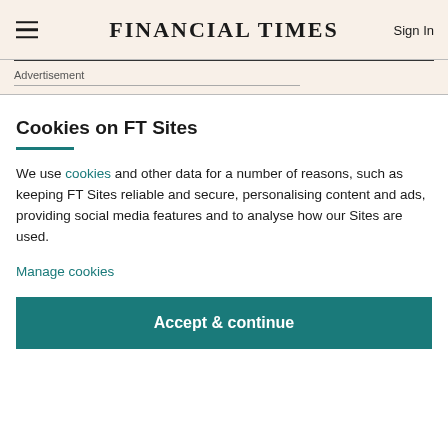FINANCIAL TIMES
Advertisement
Cookies on FT Sites
We use cookies and other data for a number of reasons, such as keeping FT Sites reliable and secure, personalising content and ads, providing social media features and to analyse how our Sites are used.
Manage cookies
Accept & continue